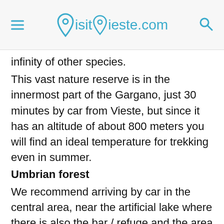VisitVieste.com
infinity of other species.
This vast nature reserve is in the innermost part of the Gargano, just 30 minutes by car from Vieste, but since it has an altitude of about 800 meters you will find an ideal temperature for trekking even in summer.
Umbrian forest
We recommend arriving by car in the central area, near the artificial lake where there is also the bar / refuge and the area reserved for fallow deer.
Another peculiarity of the territory are the Gargano lagoons: for Bird Watching lovers in the north part instead we find the lakes of